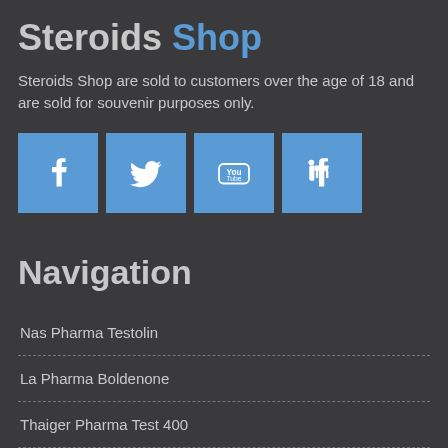Steroids Shop
Steroids Shop are sold to customers over the age of 18 and are sold for souvenir purposes only.
[Figure (illustration): Four social media icon buttons: Facebook, Twitter, YouTube, LinkedIn — each a blue square with white icon]
Navigation
Nas Pharma Testolin
La Pharma Boldenone
Thaiger Pharma Test 400
Balkan Pharmaceuticals Metanabol
Biomex Labs Turinabol